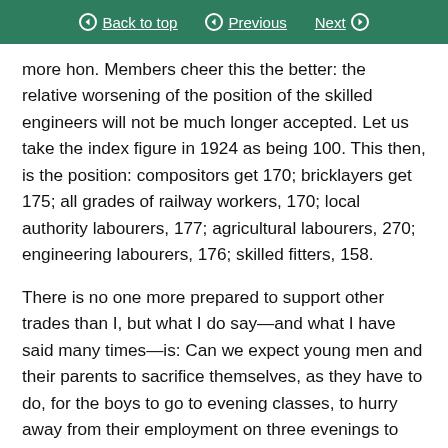Back to top   Previous   Next
more hon. Members cheer this the better: the relative worsening of the position of the skilled engineers will not be much longer accepted. Let us take the index figure in 1924 as being 100. This then, is the position: compositors get 170; bricklayers get 175; all grades of railway workers, 170; local authority labourers, 177; agricultural labourers, 270; engineering labourers, 176; skilled fitters, 158.
There is no one more prepared to support other trades than I, but what I do say—and what I have said many times—is: Can we expect young men and their parents to sacrifice themselves, as they have to do, for the boys to go to evening classes, to hurry away from their employment on three evenings to spend three evenings in classes to equip themselves